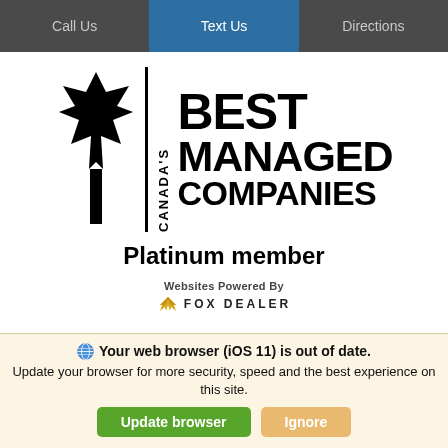Call Us   Text Us   Directions
[Figure (logo): Canada's Best Managed Companies Platinum member logo with maple leaf and Fox Dealer powered-by badge]
Websites Powered By FOX DEALER
Your web browser (iOS 11) is out of date. Update your browser for more security, speed and the best experience on this site.
Update browser   Ignore